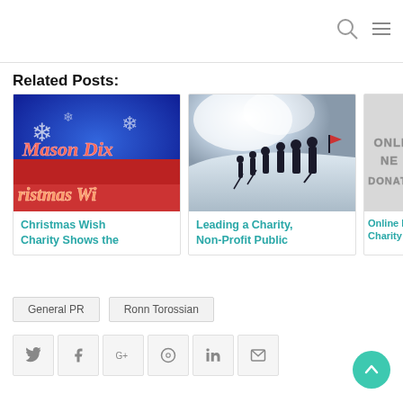Related Posts:
[Figure (photo): Christmas themed card with snowflakes and red banner with text Mason Dix ristmas Wi]
Christmas Wish Charity Shows the
[Figure (photo): Black and white photo of people hiking on a snowy mountain slope]
Leading a Charity, Non-Profit Public
[Figure (photo): Partially visible card with text ONLINE DONATI on grey background]
Online Dona Charity and D
General PR
Ronn Torossian